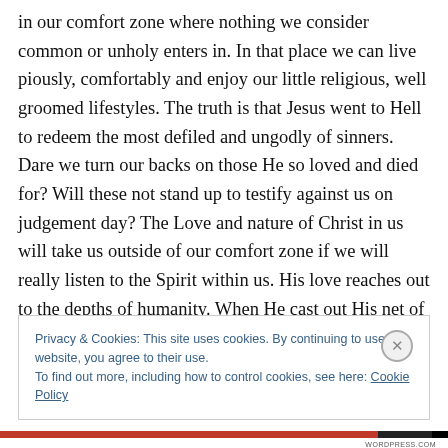in our comfort zone where nothing we consider common or unholy enters in. In that place we can live piously, comfortably and enjoy our little religious, well groomed lifestyles. The truth is that Jesus went to Hell to redeem the most defiled and ungodly of sinners. Dare we turn our backs on those He so loved and died for? Will these not stand up to testify against us on judgement day? The Love and nature of Christ in us will take us outside of our comfort zone if we will really listen to the Spirit within us. His love reaches out to the depths of humanity. When He cast out His net of salvation He draws in the clean and
Privacy & Cookies: This site uses cookies. By continuing to use this website, you agree to their use.
To find out more, including how to control cookies, see here: Cookie Policy
Close and accept